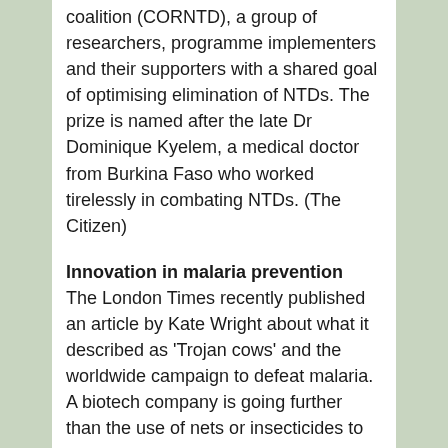coalition (CORNTD), a group of researchers, programme implementers and their supporters with a shared goal of optimising elimination of NTDs. The prize is named after the late Dr Dominique Kyelem, a medical doctor from Burkina Faso who worked tirelessly in combating NTDs. (The Citizen)
Innovation in malaria prevention
The London Times recently published an article by Kate Wright about what it described as 'Trojan cows' and the worldwide campaign to defeat malaria. A biotech company is going further than the use of nets or insecticides to thwart the mosquitoes that carry malaria from person to person. They have now begun using livestock doused in human scent to lure mosquitoes to their deaths.
In much of East Africa livestock such as cows and goats often live alongside people. These animals get malaria. Mosquitoes tend to prefer sucking blood from humans. A potent cocktail of four or five human odour compounds has now been developed that can be sprayed on to